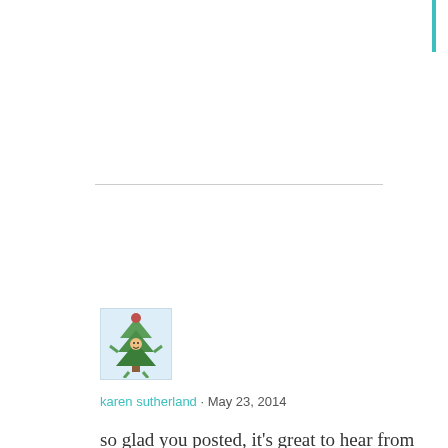[Figure (illustration): Teal vertical bar in top right corner]
[Figure (illustration): Horizontal light gray divider line]
[Figure (photo): User avatar: cartoon Christmas tree character with arms and legs on light blue background]
karen sutherland · May 23, 2014
so glad you posted, it's great to hear from you! moving forward from all you have been through
Privacy & Cookies: This site uses cookies. By continuing to use this website, you agree to their use.
To find out more, including how to control cookies, see here: Cookie Policy
Close and accept